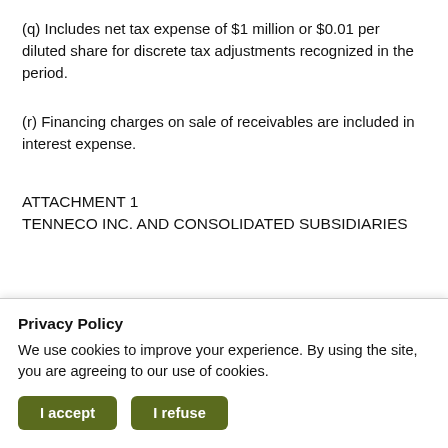(q) Includes net tax expense of $1 million or $0.01 per diluted share for discrete tax adjustments recognized in the period.
(r) Financing charges on sale of receivables are included in interest expense.
ATTACHMENT 1
TENNECO INC. AND CONSOLIDATED SUBSIDIARIES
Privacy Policy
We use cookies to improve your experience. By using the site, you are agreeing to our use of cookies.